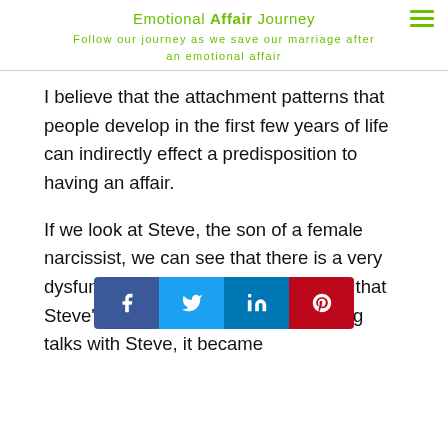Emotional Affair Journey
Follow our journey as we save our marriage after an emotional affair
I believe that the attachment patterns that people develop in the first few years of life can indirectly effect a predisposition to having an affair.
If we look at Steve, the son of a female narcissist, we can see that there is a very dysfunctional undercurrent in the way that Steve's mom relates to her son. During talks with Steve, it became